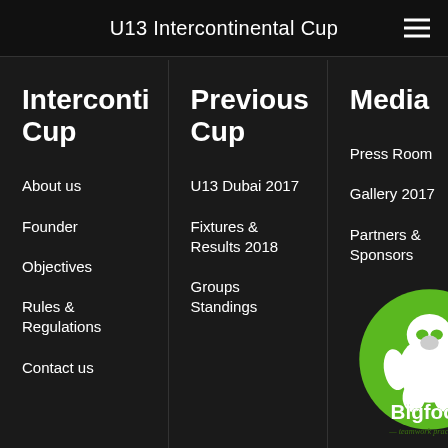U13 Intercontinental Cup
Interconti Cup
About us
Founder
Objectives
Rules & Regulations
Contact us
Previous Cup
U13 Dubai 2017
Fixtures & Results 2018
Groups Standings
Media
Press Room
Gallery 2017
Partners & Sponsors
[Figure (logo): Bigfooti teamwork practice logo — green circle with white gorilla silhouette, green text 'Bigfooti' and italic tagline 'teamwork practice']